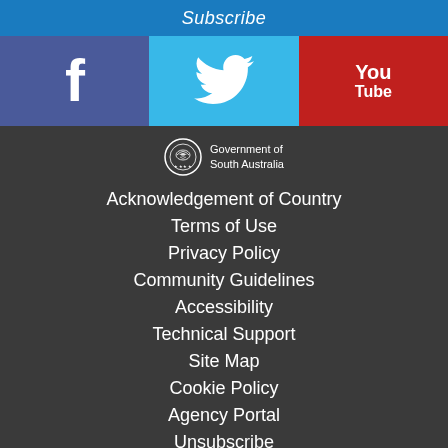Subscribe
[Figure (logo): Facebook logo icon - white f on blue/purple background]
[Figure (logo): Twitter bird logo - white bird on light blue background]
[Figure (logo): YouTube logo - You Tube text on red background]
[Figure (logo): Government of South Australia crest seal with pipistrelle bat emblem]
Acknowledgement of Country
Terms of Use
Privacy Policy
Community Guidelines
Accessibility
Technical Support
Site Map
Cookie Policy
Agency Portal
Unsubscribe